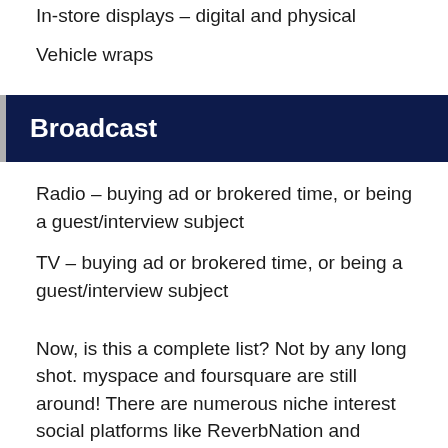In-store displays – digital and physical
Vehicle wraps
Broadcast
Radio – buying ad or brokered time, or being a guest/interview subject
TV – buying ad or brokered time, or being a guest/interview subject
Now, is this a complete list? Not by any long shot. myspace and foursquare are still around! There are numerous niche interest social platforms like ReverbNation and Nextdoor. There are multiple not so US-centric social networks like QQ, Baidu Tieba